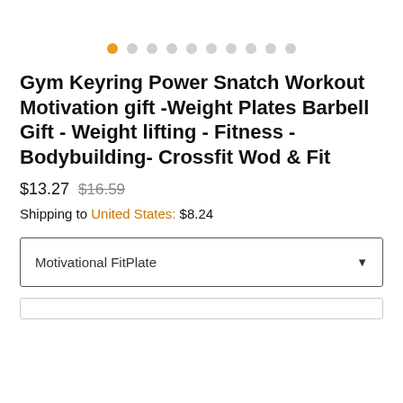[Figure (other): Pagination dots row: one orange dot followed by nine grey dots indicating image carousel position]
Gym Keyring Power Snatch Workout Motivation gift -Weight Plates Barbell Gift - Weight lifting - Fitness -Bodybuilding- Crossfit Wod & Fit
$13.27 $16.59
Shipping to United States: $8.24
Motivational FitPlate